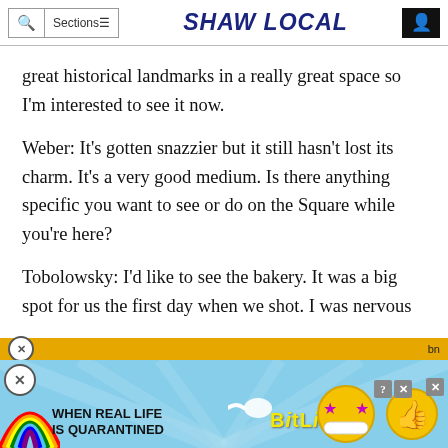SHAW LOCAL
great historical landmarks in a really great space so I'm interested to see it now.
Weber: It's gotten snazzier but it still hasn't lost its charm. It's a very good medium. Is there anything specific you want to see or do on the Square while you're here?
Tobolowsky: I'd like to see the bakery. It was a big spot for us the first day when we shot. I was nervous a[nd...]
[Figure (infographic): BitLife advertisement banner at bottom of page with rainbow, sperm graphic, yellow BitLife text, star-eyes emoji face, thumbs up emoji, and close/help buttons. Gold bar at top of ad. WHEN REAL LIFE IS QUARANTINED text on left.]